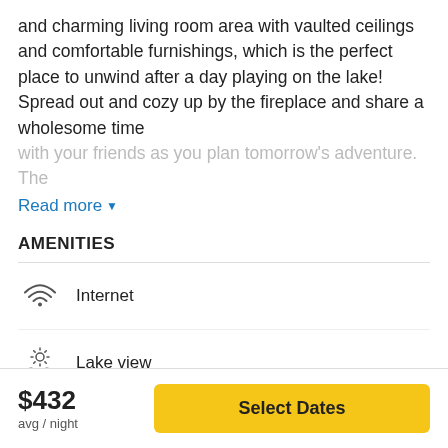and charming living room area with vaulted ceilings and comfortable furnishings, which is the perfect place to unwind after a day playing on the lake! Spread out and cozy up by the fireplace and share a wholesome time with your friends as you plan tomorrow's adventure. The
Read more ▼
AMENITIES
Internet
Lake view
Lakefront
$432 avg / night
Select Dates